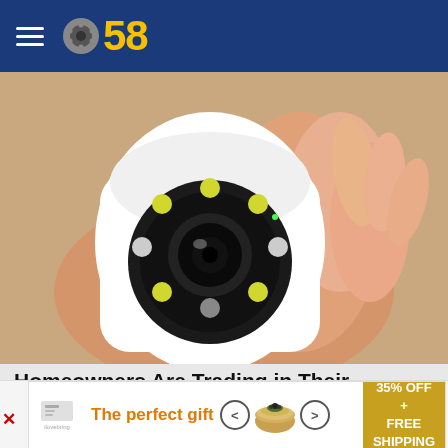CBS 58
[Figure (photo): A hand holding a small white security camera with a circular black lens and surrounding LED lights]
Homeowners Are Trading in Their Doorbell Cams for This.
Keilini.com
[Figure (photo): U.S. Department of the Treasury Bureau of the Fiscal Service envelope from P.O. Box 51315, Philadelphia, Pennsylvania 19115-0315, with Kansas City text visible and endorsement warning text]
The perfect gift
35% OFF + FREE SHIPPING